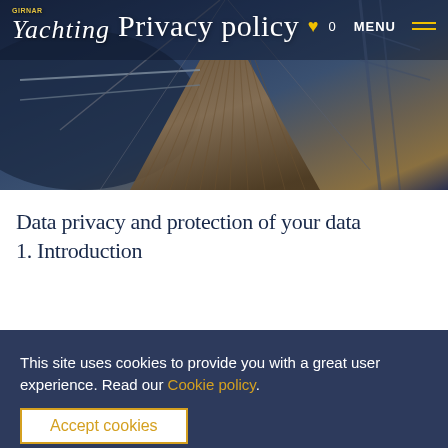[Figure (photo): Hero image of a sailboat deck with rigging and wooden planks, dark blue ocean in background, overlaid with website navigation bar showing Yachting logo and Privacy policy title]
Data privacy and protection of your data
1. Introduction
This site uses cookies to provide you with a great user experience. Read our Cookie policy.
Accept cookies